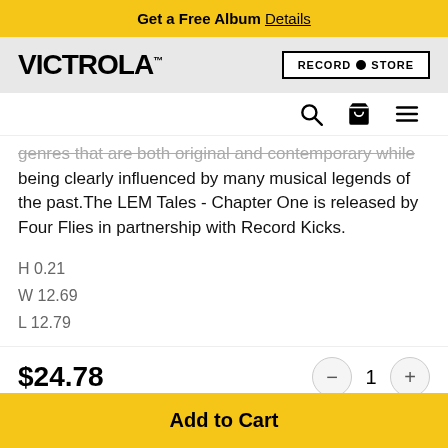Get a Free Album Details
[Figure (logo): Victrola brand logo with RECORD STORE button]
[Figure (infographic): Navigation icons: search, cart, hamburger menu]
genres that are both original and contemporary while being clearly influenced by many musical legends of the past.The LEM Tales - Chapter One is released by Four Flies in partnership with Record Kicks.
H 0.21
W 12.69
L 12.79
$24.78
1
Add to Cart